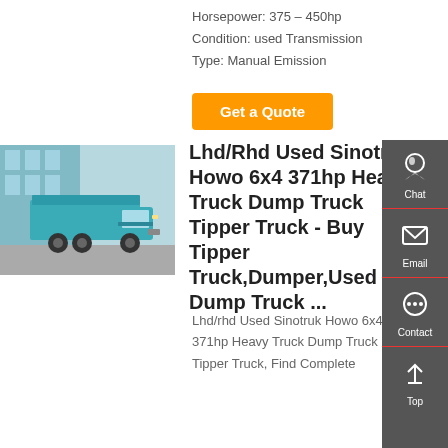Horsepower: 375 – 450hp
Condition: used Transmission
Type: Manual Emission
[Figure (photo): Teal/cyan Sinotruk HOWO 6x4 dump truck parked in front of a building with glass facade]
Lhd/Rhd Used Sinotruk Howo 6x4 371hp Heavy Truck Dump Truck Tipper Truck - Buy Tipper Truck,Dumper,Used Dump Truck ...
Lhd/rhd Used Sinotruk Howo 6x4 371hp Heavy Truck Dump Truck Tipper Truck, Find Complete